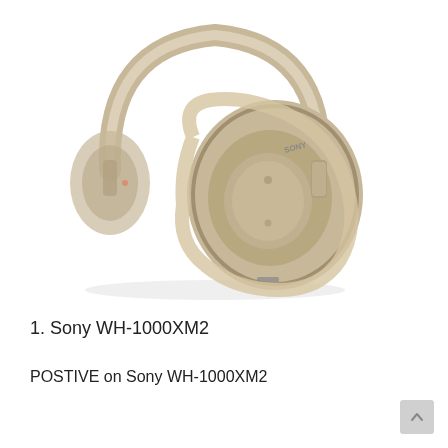[Figure (photo): Sony WH-1000XM2 over-ear noise cancelling headphones in champagne/gold color, shown from a slight angle against a white background.]
1. Sony WH-1000XM2
POSTIVE on Sony WH-1000XM2